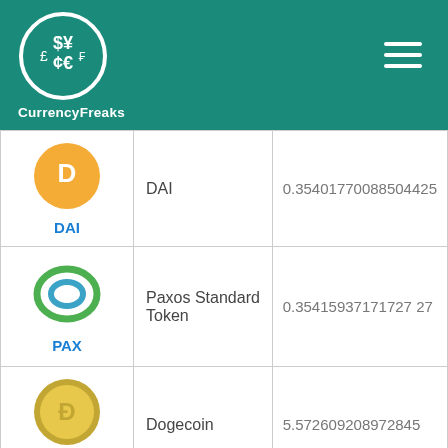CurrencyFreaks
| Coin | Name | Value |
| --- | --- | --- |
| DAI | DAI | 0.35401770088504425 |
| PAX | Paxos Standard Token | 0.35415937171727 27 |
| DOGE | Dogecoin | 5.572609208972845 |
| XRP | Ripple | 1.058630959901661 |